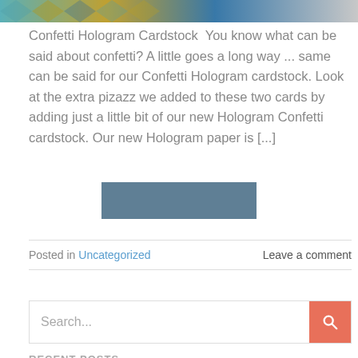[Figure (photo): Partial view of hologram cardstock with colorful geometric pattern at top of page]
Confetti Hologram Cardstock  You know what can be said about confetti? A little goes a long way ... same can be said for our Confetti Hologram cardstock. Look at the extra pizazz we added to these two cards by adding just a little bit of our new Hologram Confetti cardstock. Our new Hologram paper is [...]
[Figure (other): Read more button - a solid steel blue rectangular button]
Posted in Uncategorized     Leave a comment
Search...
RECENT POSTS